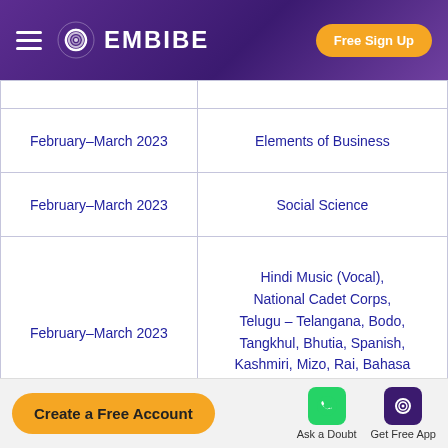EMBIBE — Free Sign Up
| Date | Subject |
| --- | --- |
| February–March 2023 | Elements of Business |
| February–March 2023 | Social Science |
| February–March 2023 | Hindi Music (Vocal), National Cadet Corps, Telugu – Telangana, Bodo, Tangkhul, Bhutia, Spanish, Kashmiri, Mizo, Rai, Bahasa Melayu |
| February–March 2023 | Hindi Course-A, Hindi |
Create a Free Account  |  Ask a Doubt  |  Get Free App